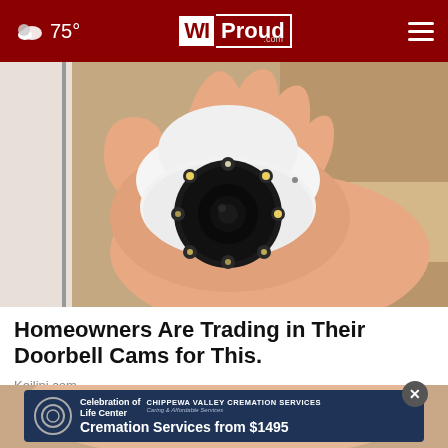75° WIProud.com
[Figure (photo): A hand holding a small white rotating security camera with a black lens ring and multiple LED lights around the lens]
Homeowners Are Trading in Their Doorbell Cams for This.
Keilini.com
[Figure (photo): Partial image of a person's face, cropped — only eyes with glasses visible]
[Figure (other): Advertisement banner: Celebration of Life Center — CHIPPEWA VALLEY CREMATION SERVICES — Caring & Affordable Services — Cremation Services from $1495]